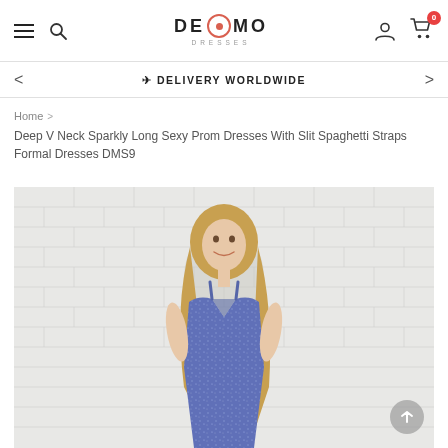DE◎MO DRESSES — navigation header with hamburger, search, logo, user, cart (0)
+ DELIVERY WORLDWIDE
Home >
Deep V Neck Sparkly Long Sexy Prom Dresses With Slit Spaghetti Straps Formal Dresses DMS9
[Figure (photo): Woman wearing a deep V-neck sparkly blue/purple prom dress, standing against a white brick wall, smiling, with long blonde hair]